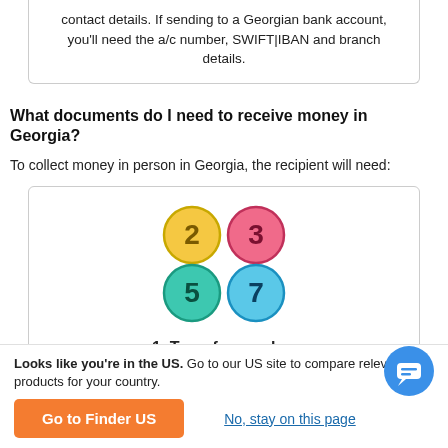contact details. If sending to a Georgian bank account, you'll need the a/c number, SWIFT|IBAN and branch details.
What documents do I need to receive money in Georgia?
To collect money in person in Georgia, the recipient will need:
[Figure (illustration): Four colored circles with numbers: yellow circle with '2', pink/red circle with '3', teal/green circle with '5', light blue circle with '7', arranged in a 2x2 grid]
1. Transfer number
Looks like you're in the US. Go to our US site to compare relevant products for your country.